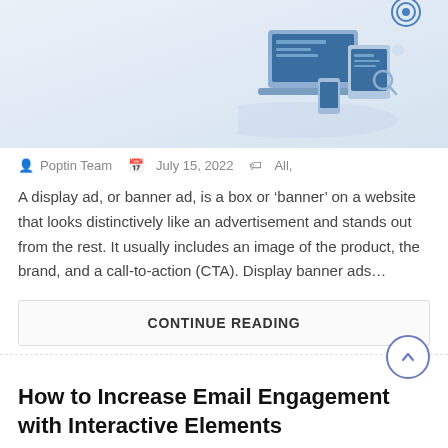[Figure (illustration): Hero banner with isometric illustration of laptop, tablet and digital marketing icons on a blue-grey gradient background]
Poptin Team  July 15, 2022  All,
A display ad, or banner ad, is a box or ‘banner’ on a website that looks distinctively like an advertisement and stands out from the rest. It usually includes an image of the product, the brand, and a call-to-action (CTA). Display banner ads…
CONTINUE READING
How to Increase Email Engagement with Interactive Elements